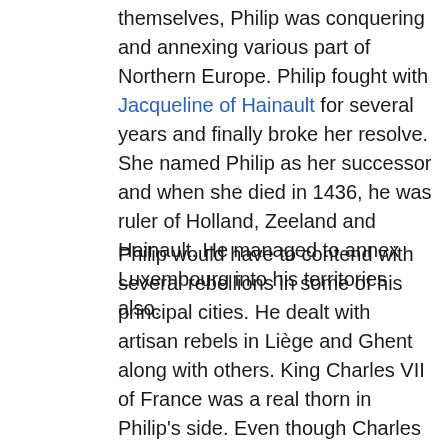themselves, Philip was conquering and annexing various part of Northern Europe. Philip fought with Jacqueline of Hainault for several years and finally broke her resolve. She named Philip as her successor and when she died in 1436, he was ruler of Holland, Zeeland and Hainault. He managed to annex Luxembourg into his territories also.
Philip would have to contend with several rebellions in some of his principal cities. He dealt with artisan rebels in Liège and Ghent along with others. King Charles VII of France was a real thorn in Philip's side. Even though Charles was guilty of murdering Philip's father John the Fearless, and despite Charles' many attempts to frustrate and even annex parts of Philip's empire,